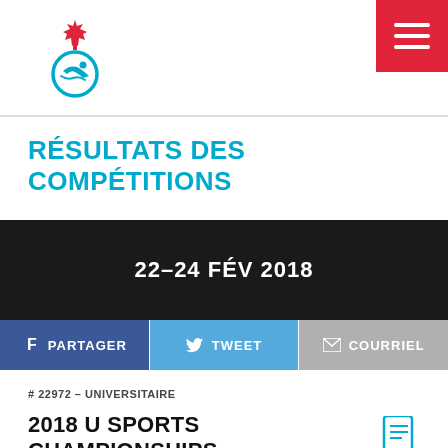[Figure (logo): Swimming Canada logo: Canadian maple leaf above a circular swimming icon in blue, with a horizontal line dividing the page header]
RÉSULTATS DES COMPÉTITIONS
22–24 FÉV 2018
PARTAGER   TWEET   COURRIEL
# 22972 – UNIVERSITAIRE
2018 U SPORTS CHAMPIONSHIPS